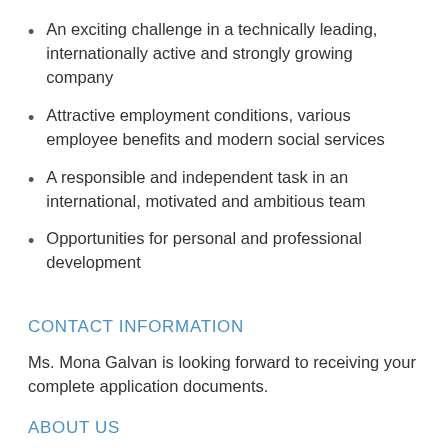An exciting challenge in a technically leading, internationally active and strongly growing company
Attractive employment conditions, various employee benefits and modern social services
A responsible and independent task in an international, motivated and ambitious team
Opportunities for personal and professional development
CONTACT INFORMATION
Ms. Mona Galvan is looking forward to receiving your complete application documents.
ABOUT US